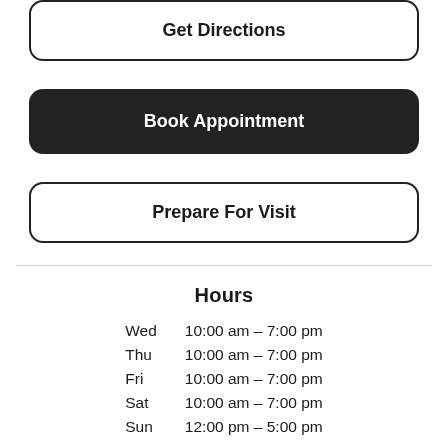Get Directions
Book Appointment
Prepare For Visit
Hours
| Day | Hours |
| --- | --- |
| Wed | 10:00 am – 7:00 pm |
| Thu | 10:00 am – 7:00 pm |
| Fri | 10:00 am – 7:00 pm |
| Sat | 10:00 am – 7:00 pm |
| Sun | 12:00 pm – 5:00 pm |